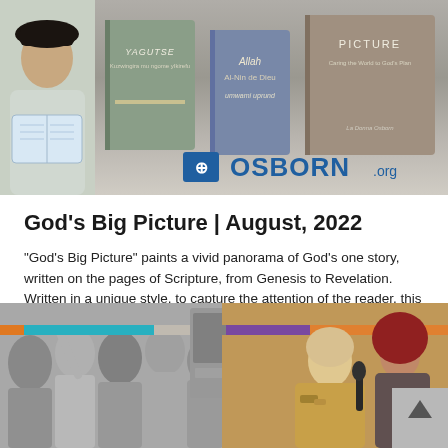[Figure (photo): Top banner image showing a person reading a book on the left, and a display of book covers with the Osborn.org logo on the right. Book titles include 'Yagutse' and 'God's Big Picture'.]
God's Big Picture | August, 2022
"God's Big Picture" paints a vivid panorama of God's one story, written on the pages of Scripture, from Genesis to Revelation. Written in a unique style, to capture the attention of the reader, this book guides a person through the four significant events of the Gospel. "God's Big Picture" answers...
[Figure (photo): Bottom banner image showing a black and white crowd photo on the left, with colored horizontal bars (orange, teal, gray, purple, orange), and a color photo of two women on the right, one holding a microphone near a woman in a red hijab.]